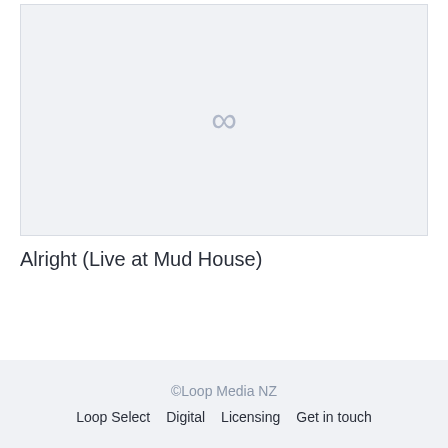[Figure (other): Light grey placeholder image box with an infinity symbol (∞) centered in it]
Alright (Live at Mud House)
©Loop Media NZ
Loop Select   Digital   Licensing   Get in touch